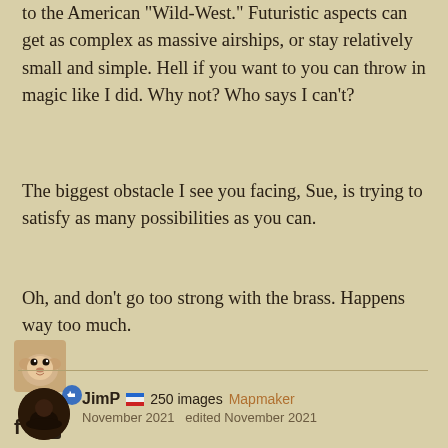to the American "Wild-West." Futuristic aspects can get as complex as massive airships, or stay relatively small and simple. Hell if you want to you can throw in magic like I did. Why not? Who says I can't?
The biggest obstacle I see you facing, Sue, is trying to satisfy as many possibilities as you can.
Oh, and don't go too strong with the brass. Happens way too much.
[Figure (illustration): Small hamster avatar with a blue thumbs-up badge, and social sharing icons (Facebook f and Twitter bird) below]
JimP  250 images  Mapmaker  November 2021  edited November 2021